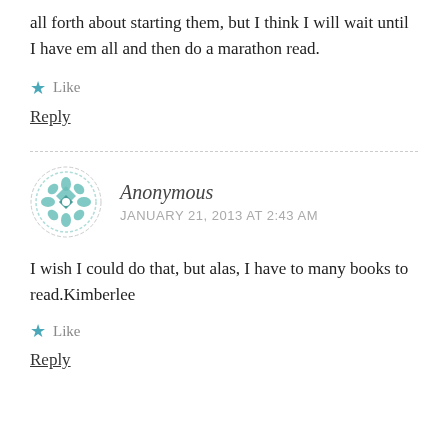all forth about starting them, but I think I will wait until I have em all and then do a marathon read.
★ Like
Reply
Anonymous
JANUARY 21, 2013 AT 2:43 AM
I wish I could do that, but alas, I have to many books to read.Kimberlee
★ Like
Reply